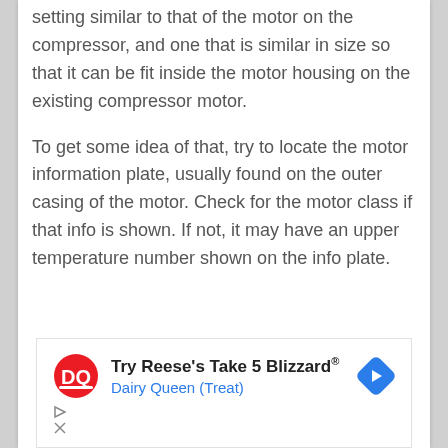setting similar to that of the motor on the compressor, and one that is similar in size so that it can be fit inside the motor housing on the existing compressor motor.
To get some idea of that, try to locate the motor information plate, usually found on the outer casing of the motor. Check for the motor class if that info is shown. If not, it may have an upper temperature number shown on the info plate.
[Figure (infographic): Advertisement banner for Dairy Queen showing DQ logo, text 'Try Reese's Take 5 Blizzard® Dairy Queen (Treat)', a blue diamond arrow icon, and ad controls (play and close buttons).]